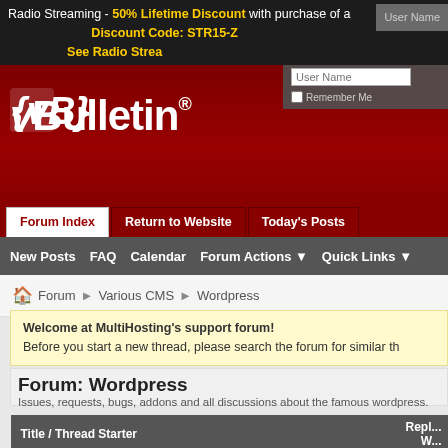Radio Streaming - 50% Lifetime Discount with purchase of a... Discount Code: STR15-Z See Radio Strea...
[Figure (logo): vBulletin logo in white on dark red background]
User Name | Remember Me
Forum Index | Return to Website | Today's Posts
New Posts  FAQ  Calendar  Forum Actions ▼  Quick Links ▼
Forum ❯ Various CMS ❯ Wordpress
Welcome at MultiHosting's support forum! Before you start a new thread, please search the forum for similar th...
Forum: Wordpress
Issues, requests, bugs, addons and all discussions about the famous wordpress.
| Title / Thread Starter | Repl... W... |
| --- | --- |
| Wordpress: Σοβαρό κενό ασφαλείας
Started by 3hills, 30-12-2012 10:35 PM | Repl... W... |
Wordpress: Σοβαρό κενό ασφαλείας
Started by 3hills, 30-12-2012 10:35 PM